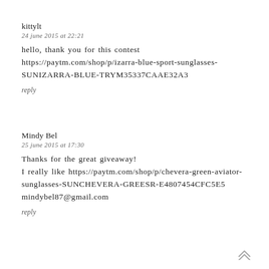kittylt
24 june 2015 at 22:21
hello, thank you for this contest https://paytm.com/shop/p/izarra-blue-sport-sunglasses-SUNIZARRA-BLUE-TRYM35337CAAE32A3
reply
Mindy Bel
25 june 2015 at 17:30
Thanks for the great giveaway! I really like https://paytm.com/shop/p/chevera-green-aviator-sunglasses-SUNCHEVERA-GREESR-E4807454CFC5E5 mindybel87@gmail.com
reply